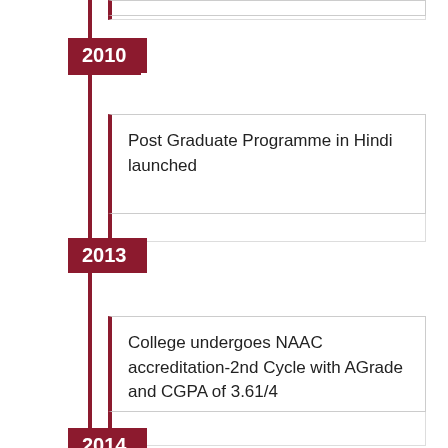2010
Post Graduate Programme in Hindi launched
2013
College undergoes NAAC accreditation-2nd Cycle with AGrade and CGPA of 3.61/4
2014
BCom with Accounts, Finance and Insurance